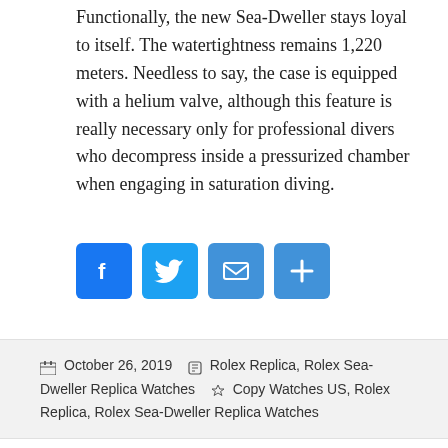Functionally, the new Sea-Dweller stays loyal to itself. The watertightness remains 1,220 meters. Needless to say, the case is equipped with a helium valve, although this feature is really necessary only for professional divers who decompress inside a pressurized chamber when engaging in saturation diving.
[Figure (infographic): Social sharing icons: Facebook, Twitter, Email, Share (plus sign)]
October 26, 2019   Rolex Replica, Rolex Sea-Dweller Replica Watches   Copy Watches US, Rolex Replica, Rolex Sea-Dweller Replica Watches
Unexpected Rolex Sea-Dweller Replica Watches